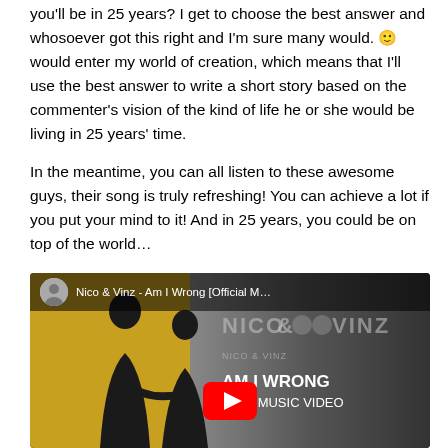you'll be in 25 years? I get to choose the best answer and whosoever got this right and I'm sure many would. 🙂 would enter my world of creation, which means that I'll use the best answer to write a short story based on the commenter's vision of the kind of life he or she would be living in 25 years' time.

In the meantime, you can all listen to these awesome guys, their song is truly refreshing! You can achieve a lot if you put your mind to it! And in 25 years, you could be on top of the world…
[Figure (screenshot): YouTube video thumbnail for Nico & Vinz - Am I Wrong [Official M...], showing silhouettes of two people against a golden/yellow background gradient. The right side shows the text 'AM I WRONG' and 'ICIAL MUSIC VIDEO' with the YouTube play button overlay.]